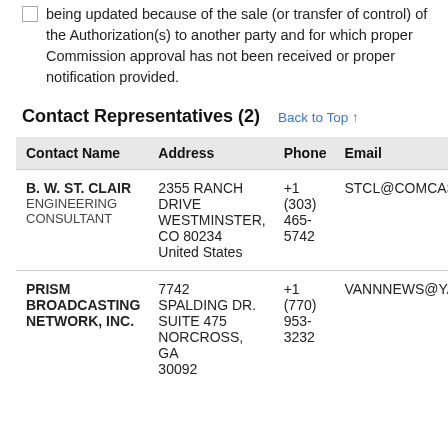Check box if the Authorization Holder Name is being updated because of the sale (or transfer of control) of the Authorization(s) to another party and for which proper Commission approval has not been received or proper notification provided.
Contact Representatives (2)
| Contact Name | Address | Phone | Email |
| --- | --- | --- | --- |
| B. W. ST. CLAIR
ENGINEERING CONSULTANT | 2355 RANCH DRIVE
WESTMINSTER, CO 80234
United States | +1 (303) 465-5742 | STCL@COMCAST.NE |
| PRISM BROADCASTING NETWORK, INC. | 7742 SPALDING DR.
SUITE 475
NORCROSS, GA 30092 | +1 (770) 953-3232 | VANNNEWS@YAHO |